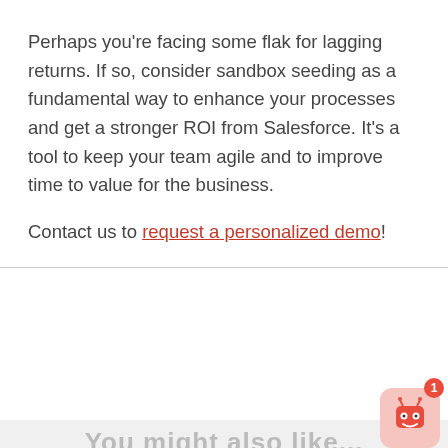Perhaps you're facing some flak for lagging returns. If so, consider sandbox seeding as a fundamental way to enhance your processes and get a stronger ROI from Salesforce. It's a tool to keep your team agile and to improve time to value for the business.
Contact us to request a personalized demo!
[Figure (screenshot): Cookie notice popup banner with title 'Prodly's Cookie Notice', close X button, and text 'We use cookies to improve your experience on our website.' Overlaid by a chat bubble saying 'What could your team accomplish if you could release your Salesforce changes 80% faster?' with a circular close icon and a robot widget in bottom right corner.]
You might also like...